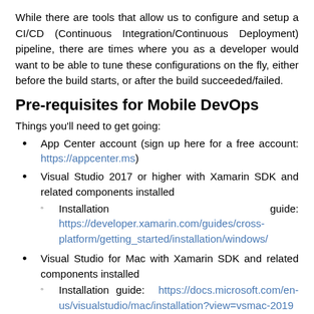While there are tools that allow us to configure and setup a CI/CD (Continuous Integration/Continuous Deployment) pipeline, there are times where you as a developer would want to be able to tune these configurations on the fly, either before the build starts, or after the build succeeded/failed.
Pre-requisites for Mobile DevOps
Things you'll need to get going:
App Center account (sign up here for a free account: https://appcenter.ms)
Visual Studio 2017 or higher with Xamarin SDK and related components installed
Installation guide: https://developer.xamarin.com/guides/cross-platform/getting_started/installation/windows/
Visual Studio for Mac with Xamarin SDK and related components installed
Installation guide: https://docs.microsoft.com/en-us/visualstudio/mac/installation?view=vsmac-2019
Optional: Code used in this article: https://github.com/mistryhardik/ms-workshops